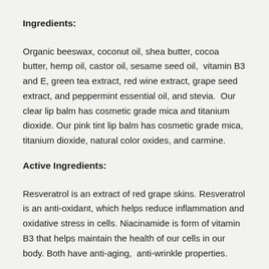Ingredients:
Organic beeswax, coconut oil, shea butter, cocoa butter, hemp oil, castor oil, sesame seed oil,  vitamin B3 and E, green tea extract, red wine extract, grape seed extract, and peppermint essential oil, and stevia.  Our clear lip balm has cosmetic grade mica and titanium dioxide. Our pink tint lip balm has cosmetic grade mica, titanium dioxide, natural color oxides, and carmine.
Active Ingredients:
Resveratrol is an extract of red grape skins. Resveratrol is an anti-oxidant, which helps reduce inflammation and oxidative stress in cells. Niacinamide is form of vitamin B3 that helps maintain the health of our cells in our body. Both have anti-aging,  anti-wrinkle properties.